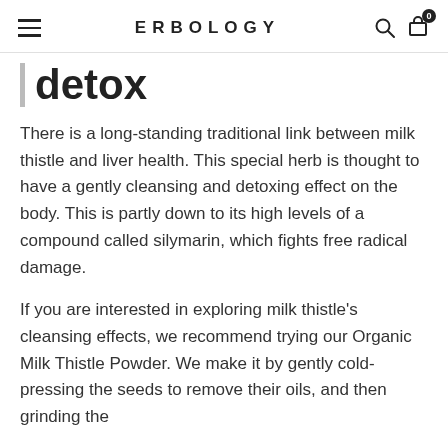ERBOLOGY
detox
There is a long-standing traditional link between milk thistle and liver health. This special herb is thought to have a gently cleansing and detoxing effect on the body. This is partly down to its high levels of a compound called silymarin, which fights free radical damage.
If you are interested in exploring milk thistle's cleansing effects, we recommend trying our Organic Milk Thistle Powder. We make it by gently cold-pressing the seeds to remove their oils, and then grinding the